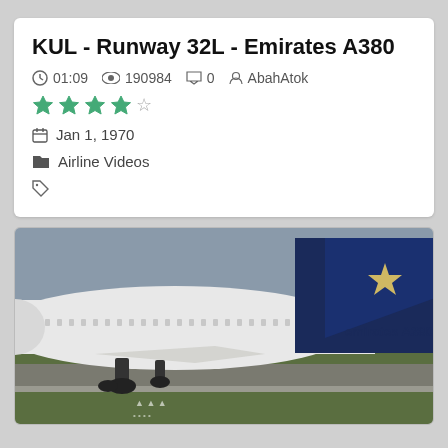KUL - Runway 32L - Emirates A380
01:09   190984   0   AbahAtok
★★★★☆
Jan 1, 1970
Airline Videos
[Figure (photo): A large commercial airplane (Emirates A380 with blue tail livery) on a runway, photographed from the side at low angle. The fuselage is white with rows of windows visible. The tail section shows a dark navy blue color with a star pattern. The background shows green grass and overcast sky.]